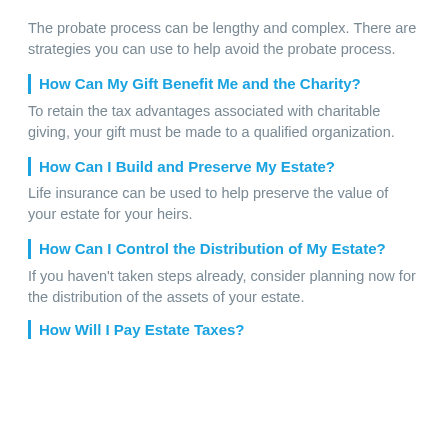The probate process can be lengthy and complex. There are strategies you can use to help avoid the probate process.
How Can My Gift Benefit Me and the Charity?
To retain the tax advantages associated with charitable giving, your gift must be made to a qualified organization.
How Can I Build and Preserve My Estate?
Life insurance can be used to help preserve the value of your estate for your heirs.
How Can I Control the Distribution of My Estate?
If you haven't taken steps already, consider planning now for the distribution of the assets of your estate.
How Will I Pay Estate Taxes?